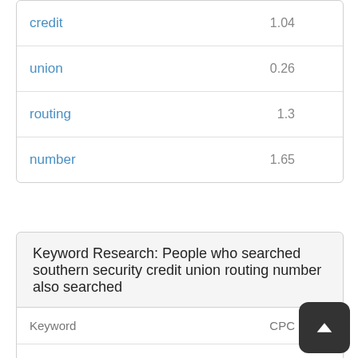| Keyword | CPC |  |
| --- | --- | --- |
| credit | 1.04 |  |
| union | 0.26 |  |
| routing | 1.3 |  |
| number | 1.65 |  |
Keyword Research: People who searched southern security credit union routing number also searched
| Keyword | CPC |  |
| --- | --- | --- |
| southern security credit union routing number | 1.1 |  |